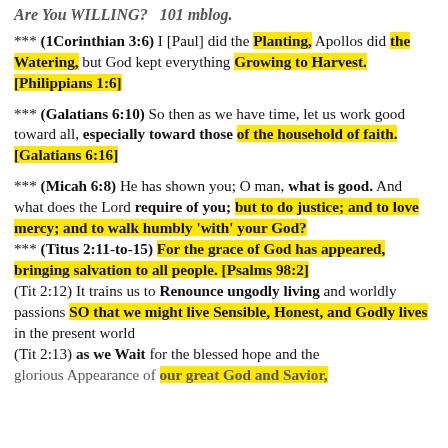Are You WILLING?  101 mblog.
*** (1Corinthian 3:6) I [Paul] did the Planting, Apollos did the Watering, but God kept everything Growing to Harvest. [Philippians 1:6]
*** (Galatians 6:10) So then as we have time, let us work good toward all, especially toward those of the household of faith. [Galatians 6:16]
*** (Micah 6:8) He has shown you; O man, what is good. And what does the Lord require of you; but to do justice; and to love mercy; and to walk humbly 'with' your God?
*** (Titus 2:11-to-15) For the grace of God has appeared, bringing salvation to all people. [Psalms 98:2]
(Tit 2:12) It trains us to Renounce ungodly living and worldly passions SO that we might live Sensible, Honest, and Godly lives in the present world
(Tit 2:13) as we Wait for the blessed hope and the glorious Appearance of our great God and Savior,